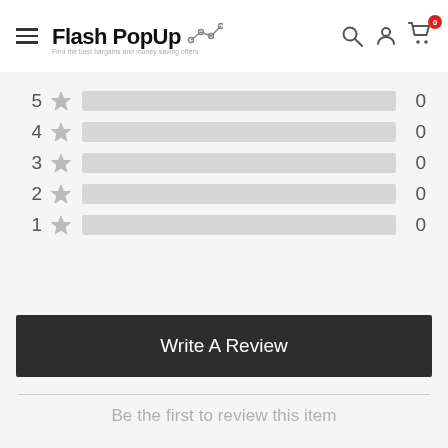Flash PopUp — Navigation header with hamburger menu, logo, search icon, account icon, cart icon (0 items)
[Figure (other): Star rating breakdown showing 5 rows (5-star to 1-star), each with a gray unfilled bar and count of 0]
Write A Review
Be the first to review this item